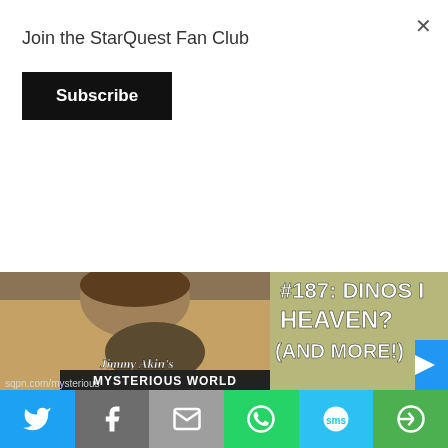Join the StarQuest Fan Club
Subscribe
[Figure (screenshot): Podcast thumbnail for Jimmy Akin's Mysterious World episode #187 about Dinosaurs in Heaven? (And More!) showing a painted Jesus holding a dinosaur, with sqpn.com/mysterious watermark and a blue arrow/sqp logo on right]
It's New Year's Eve, so Cy Kellett of Catholic Answers Live is asking Jimmy Akin weird questions from
[Figure (infographic): Social share bar with Twitter, Facebook, Email, WhatsApp, SMS, and More buttons]